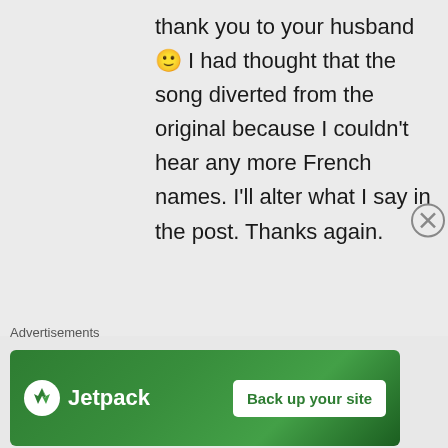thank you to your husband 🙂 I had thought that the song diverted from the original because I couldn't hear any more French names. I'll alter what I say in the post. Thanks again.
★ Like
↵ Reply
Advertisements
[Figure (other): Jetpack advertisement banner with green background showing Jetpack logo and 'Back up your site' button]